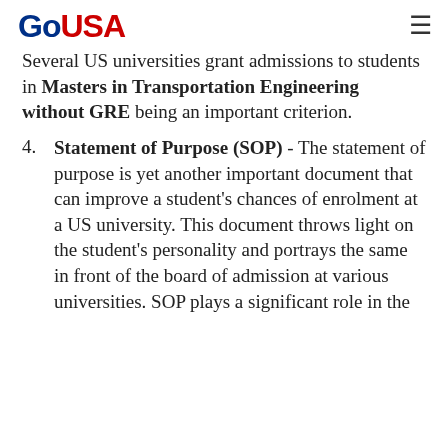GoUSA
Several US universities grant admissions to students in Masters in Transportation Engineering without GRE being an important criterion.
4. Statement of Purpose (SOP) - The statement of purpose is yet another important document that can improve a student's chances of enrolment at a US university. This document throws light on the student's personality and portrays the same in front of the board of admission at various universities. SOP plays a significant role in the